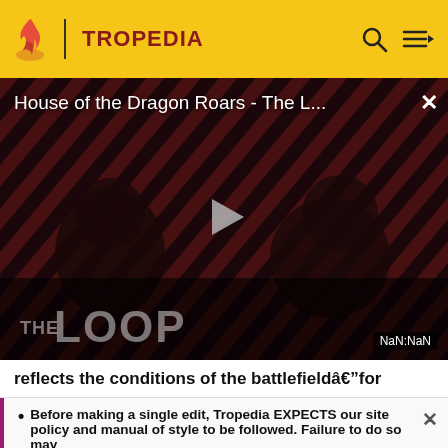TROPEDIA
[Figure (screenshot): Video player showing 'House of the Dragon Roars - The L...' with a play button in the center. Background has diagonal red/dark stripes pattern with silhouetted figures and THE LOOP text overlay. NaN:NaN timestamp shown in bottom right.]
reflects the conditions of the battlefieldâ€“for
Before making a single edit, Tropedia EXPECTS our site policy and manual of style to be followed. Failure to do so may
READ MORE